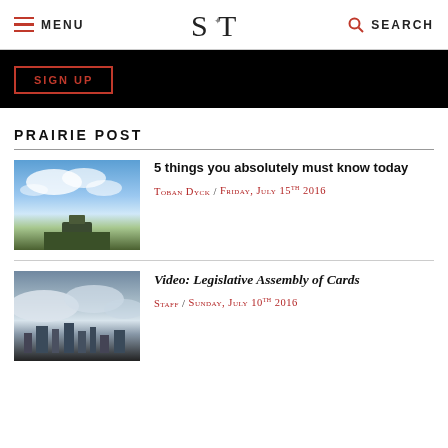MENU | S T | SEARCH
[Figure (screenshot): Black signup bar with SIGN UP button in red border]
PRAIRIE POST
[Figure (photo): Landscape photo with blue sky and clouds, green fields, a structure on the horizon]
5 things you absolutely must know today
Toban Dyck / Friday, July 15th 2016
[Figure (photo): City skyline under cloudy sky]
Video: Legislative Assembly of Cards
Staff / Sunday, July 10th 2016